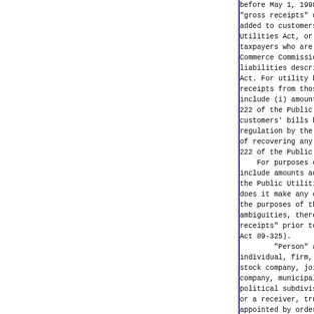before May 1, 1998, and for rece "gross receipts" does not inclu added to customers' bills under Utilities Act, or (ii) amount taxpayers who are not subject to Commerce Commission for the purpo liabilities described in Section Act. For utility bills issued on receipts from those utility bil include (i) amounts added to cus 222 of the Public Utilities Ac customers' bills by taxpayers regulation by the Illinois Comme of recovering any of the tax liab 222 of the Public Utilities Act.     For purposes of this Secti include amounts added to customer the Public Utilities Act. This pa does it make any change in the m the purposes of this Section, but ambiguities, thereby confirming receipts" prior to January 1, 199 Act 89-325).     "Person" as used in th individual, firm, trust, estate, stock company, joint adventure, company, municipal corporation, political subdivisions, any State or a receiver, trustee, guare appointed by order of any court.